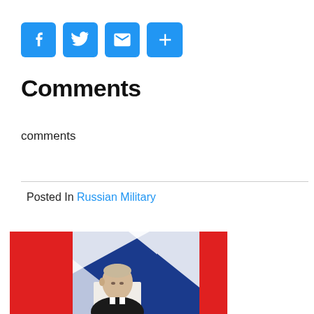[Figure (infographic): Four blue social sharing icon buttons: Facebook (F), Twitter (bird), Email (envelope), and Share (+)]
Comments
comments
Posted In Russian Military
[Figure (photo): Photo of Vladimir Putin seated at a table, with red and blue/white flags in the background]